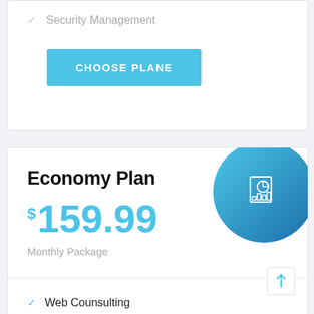✓ Security Management
CHOOSE PLANE
Economy Plan
$159.99
Monthly Package
✓ Web Counsulting